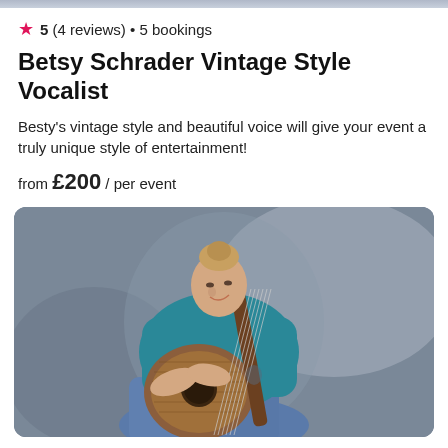[Figure (photo): Top strip showing partial photo of a performer, cropped]
★ 5 (4 reviews) • 5 bookings
Betsy Schrader Vintage Style Vocalist
Besty's vintage style and beautiful voice will give your event a truly unique style of entertainment!
from £200 / per event
[Figure (photo): A smiling man with hair in a bun, wearing a teal t-shirt, sitting and playing an acoustic guitar with wood grain detail, on a grey background.]